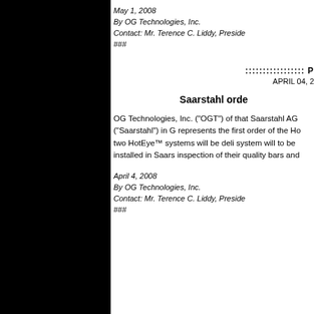May 1, 2008
By OG Technologies, Inc.
Contact: Mr. Terence C. Liddy, Preside
###
::::::::::::::::: P
APRIL 04, 2
Saarstahl orde
OG Technologies, Inc. ("OGT") of that Saarstahl AG ("Saarstahl") in G represents the first order of the Ho two HotEye™ systems will be deli system will to be installed in Saars inspection of their quality bars and
April 4, 2008
By OG Technologies, Inc.
Contact: Mr. Terence C. Liddy, Preside
###